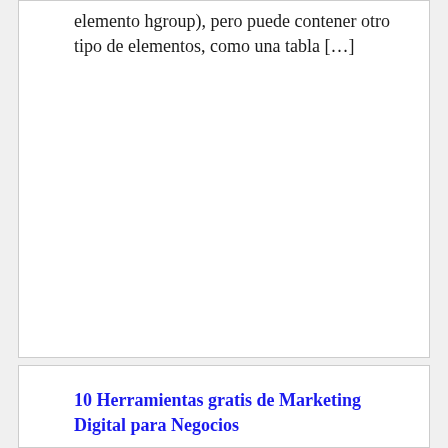elemento hgroup), pero puede contener otro tipo de elementos, como una tabla […]
10 Herramientas gratis de Marketing Digital para Negocios